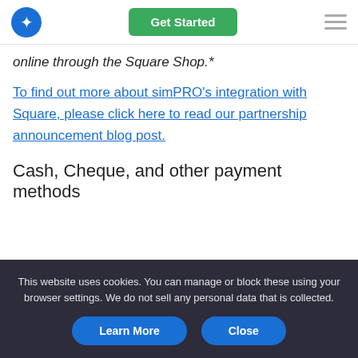simPRO logo | Get Started button | hamburger menu
online through the Square Shop.*
To find out more about simPRO's integration with Square, please click here to read our partnership announcement blog post.
Cash, Cheque, and other payment methods
[Figure (illustration): Illustration of a mobile device displaying a payment card interface with teal card and green payment icon]
This website uses cookies. You can manage or block these using your browser settings. We do not sell any personal data that is collected.